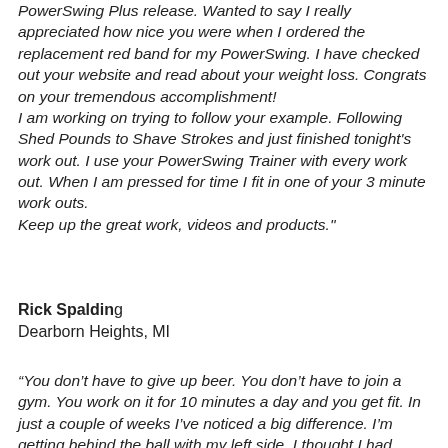PowerSwing Plus release. Wanted to say I really appreciated how nice you were when I ordered the replacement red band for my PowerSwing. I have checked out your website and read about your weight loss. Congrats on your tremendous accomplishment! I am working on trying to follow your example. Following Shed Pounds to Shave Strokes and just finished tonight's work out. I use your PowerSwing Trainer with every work out. When I am pressed for time I fit in one of your 3 minute work outs. Keep up the great work, videos and products."
Rick Spalding
Dearborn Heights, MI
“You don’t have to give up beer. You don’t have to join a gym. You work on it for 10 minutes a day and you get fit. In just a couple of weeks I’ve noticed a big difference. I’m getting behind the ball with my left side. I thought I had